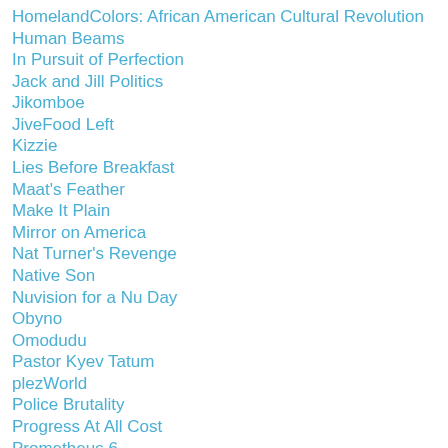HomelandColors: African American Cultural Revolution
Human Beams
In Pursuit of Perfection
Jack and Jill Politics
Jikomboe
JiveFood Left
Kizzie
Lies Before Breakfast
Maat's Feather
Make It Plain
Mirror on America
Nat Turner's Revenge
Native Son
Nuvision for a Nu Day
Obyno
Omodudu
Pastor Kyev Tatum
plezWorld
Police Brutality
Progress At All Cost
Prometheus 6
Race Wire